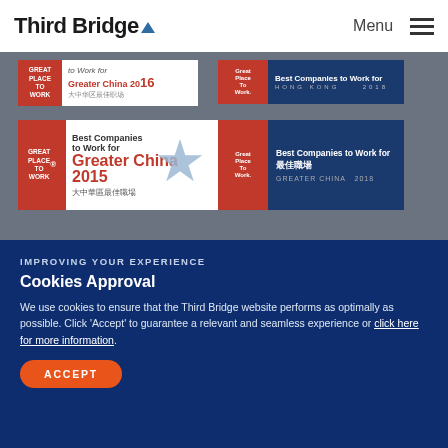Third Bridge — Menu
[Figure (photo): Award badges: Great Place to Work for Greater China 2016, 2015, Hong Kong 2018, Greater China 2018]
CONNECT WITH US
IMPROVING YOUR EXPERIENCE
Cookies Approval
We use cookies to ensure that the Third Bridge website performs as optimally as possible. Click 'Accept' to guarantee a relevant and seamless experience or click here for more information.
ACCEPT